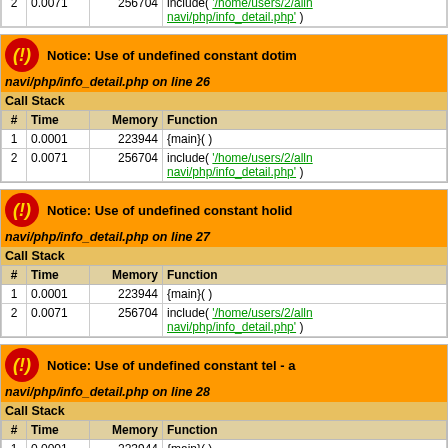| # | Time | Memory | Function |
| --- | --- | --- | --- |
| 2 | 0.0071 | 256704 | include( '/home/users/2/alln navi/php/info_detail.php' ) |
| # | Time | Memory | Function |
| --- | --- | --- | --- |
| 1 | 0.0001 | 223944 | {main}( ) |
| 2 | 0.0071 | 256704 | include( '/home/users/2/alln navi/php/info_detail.php' ) |
| # | Time | Memory | Function |
| --- | --- | --- | --- |
| 1 | 0.0001 | 223944 | {main}( ) |
| 2 | 0.0071 | 256704 | include( '/home/users/2/alln navi/php/info_detail.php' ) |
| # | Time | Memory | Function |
| --- | --- | --- | --- |
| 1 | 0.0001 | 223944 | {main}( ) |
| 2 | 0.0071 | 256704 | include( '/home/users/2/alln ) |